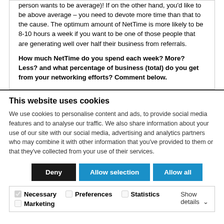person wants to be average)!  If on the other hand, you'd like to be above average – you need to devote more time than that to the cause.  The optimum amount of NetTime is more likely to be 8-10 hours a week if you want to be one of those people that are generating well over half their business from referrals.
How much NetTime do you spend each week?  More?  Less? and what percentage of business (total) do you get from your networking efforts?  Comment below.
This website uses cookies
We use cookies to personalise content and ads, to provide social media features and to analyse our traffic. We also share information about your use of our site with our social media, advertising and analytics partners who may combine it with other information that you've provided to them or that they've collected from your use of their services.
Deny | Allow selection | Allow all
Necessary  Preferences  Statistics  Marketing  Show details